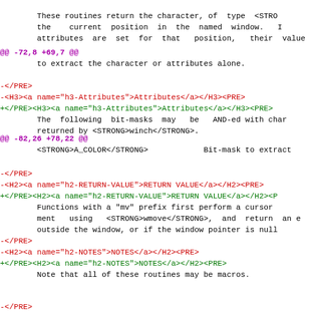These routines return the character, of type <STRO the current position in the named window. I attributes are set for that position, their value
@@ -72,8 +69,7 @@
to extract the character or attributes alone.
-</PRE>
-<H3><a name="h3-Attributes">Attributes</a></H3><PRE>
+</PRE><H3><a name="h3-Attributes">Attributes</a></H3><PRE>
        The following bit-masks may be AND-ed with cha returned by <STRONG>winch</STRONG>.
@@ -82,26 +78,22 @@
<STRONG>A_COLOR</STRONG>          Bit-mask to extract
-</PRE>
-<H2><a name="h2-RETURN-VALUE">RETURN VALUE</a></H2><PRE>
+</PRE><H2><a name="h2-RETURN-VALUE">RETURN VALUE</a></H2><P
        Functions with a "mv" prefix first perform a cursor ment  using  <STRONG>wmove</STRONG>, and return an e outside the window, or if the window pointer is null
-</PRE>
-<H2><a name="h2-NOTES">NOTES</a></H2><PRE>
+</PRE><H2><a name="h2-NOTES">NOTES</a></H2><PRE>
        Note that all of these routines may be macros.
-</PRE>